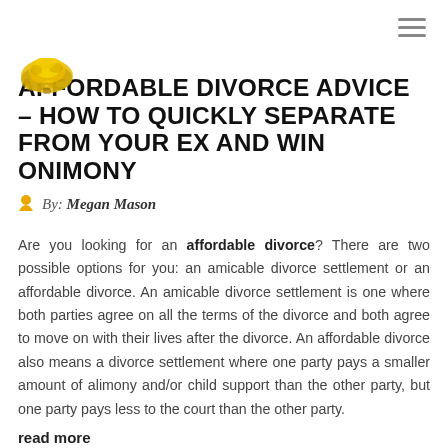[Figure (logo): Yellow/gold decorative tree or floral logo icon in top-left of content area]
AFFORDABLE DIVORCE ADVICE – HOW TO QUICKLY SEPARATE FROM YOUR EX AND WIN ONIMONY
By: Megan Mason
Are you looking for an affordable divorce? There are two possible options for you: an amicable divorce settlement or an affordable divorce. An amicable divorce settlement is one where both parties agree on all the terms of the divorce and both agree to move on with their lives after the divorce. An affordable divorce also means a divorce settlement where one party pays a smaller amount of alimony and/or child support than the other party, but one party pays less to the court than the other party.
read more